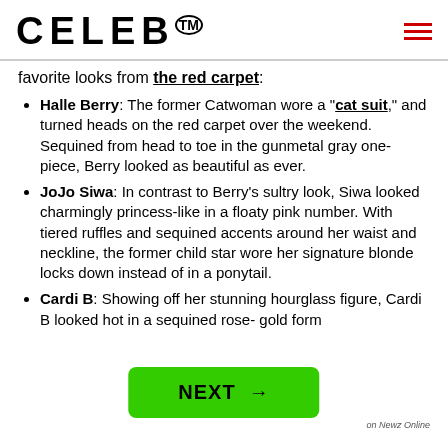CELEB™
favorite looks from the red carpet:
Halle Berry: The former Catwoman wore a "cat suit," and turned heads on the red carpet over the weekend. Sequined from head to toe in the gunmetal gray one-piece, Berry looked as beautiful as ever.
JoJo Siwa: In contrast to Berry's sultry look, Siwa looked charmingly princess-like in a floaty pink number. With tiered ruffles and sequined accents around her waist and neckline, the former child star wore her signature blonde locks down instead of in a ponytail.
Cardi B: Showing off her stunning hourglass figure, Cardi B looked hot in a sequined rose-gold form
NEXT →
on Newz Online